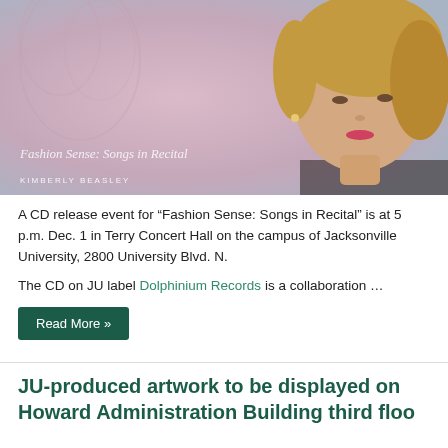[Figure (photo): Album cover / promotional photo for 'Fashion Sense: Songs in Recital' by Kimberly Beasley. A woman with short blonde hair against a pink-grey background, with cursive text overlay reading 'Fashion Sense: Songs in Recital' and 'KIMBERLY BEASLEY'.]
A CD release event for “Fashion Sense: Songs in Recital” is at 5 p.m. Dec. 1 in Terry Concert Hall on the campus of Jacksonville University, 2800 University Blvd. N.
The CD on JU label Dolphinium Records is a collaboration …
Read More »
JU-produced artwork to be displayed on Howard Administration Building third flo...